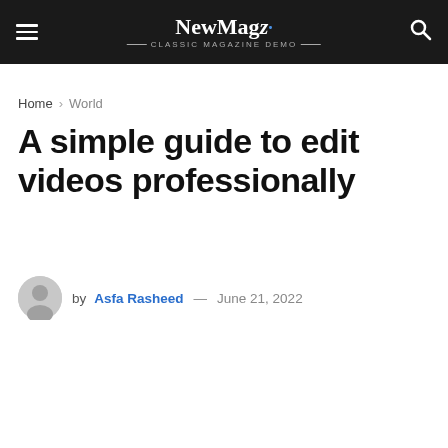NewMagz — classic magazine demo | Navigation bar with hamburger menu and search
Home › World
A simple guide to edit videos professionally
by Asfa Rasheed — June 21, 2022